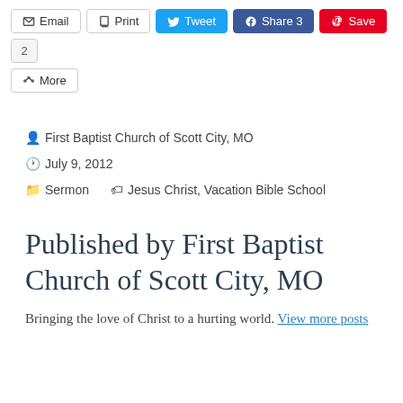[Figure (screenshot): Social sharing toolbar with Email, Print, Tweet, Share 3, Save, 2 buttons and a More button below]
First Baptist Church of Scott City, MO   July 9, 2012   Sermon   Jesus Christ, Vacation Bible School
Published by First Baptist Church of Scott City, MO
Bringing the love of Christ to a hurting world. View more posts